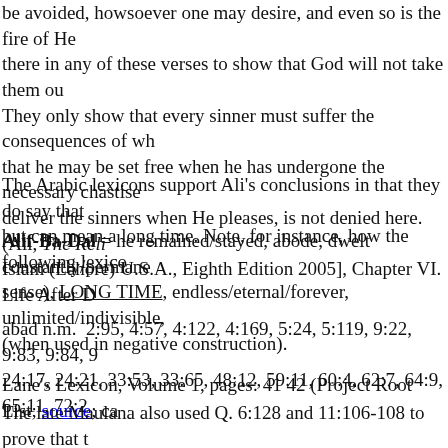be avoided, howsoever one may desire, and even so is the fire of He there in any of these verses to show that God will not take them ou They only show that every sinner must suffer the consequences of wh that he may be set free when he has undergone the necessary chastise deliver the sinners when He pleases, is not denied here. (Ali, The Reli Islam (Lahore) U.S.A., Eighth Edition 2005], Chapter VI. Life After D
The Arabic lexicons support Ali's conclusions in that they do say that but can mean a long time. Note, for instance, how the following lexico
Alif-Ba-Dal = he remained/stayed, abode, dwelt constantly/permane sense), LONG TIME, endless/eternal/forever, unlimited/indivisible, (when used in negative construction).
abad n.m. 2:95, 4:57, 4:122, 4:169, 5:24, 5:119, 9:22, 9:83, 9:84, 9 24:17, 24:21, 33:53, 33:65, 48:12, 59:11, 60:4, 62:7, 64:9, 65:11, 72:2
Lane's Lexicon, Volume 1, pages: 41 42 (Project Root List; source; ca
The late Maulana also used Q. 6:128 and 11:106-108 to prove that t that hell will last forever: